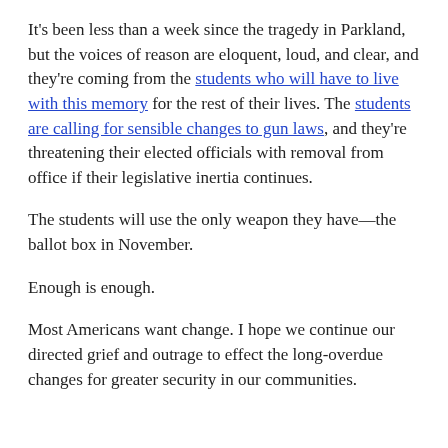It's been less than a week since the tragedy in Parkland, but the voices of reason are eloquent, loud, and clear, and they're coming from the students who will have to live with this memory for the rest of their lives. The students are calling for sensible changes to gun laws, and they're threatening their elected officials with removal from office if their legislative inertia continues.
The students will use the only weapon they have—the ballot box in November.
Enough is enough.
Most Americans want change. I hope we continue our directed grief and outrage to effect the long-overdue changes for greater security in our communities.